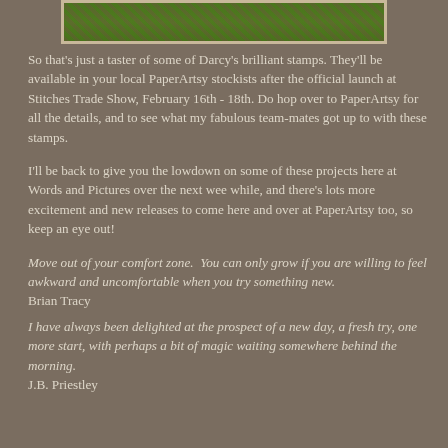[Figure (photo): Partial photo of nature/bird stamping scene, cropped at top of page]
So that's just a taster of some of Darcy's brilliant stamps. They'll be available in your local PaperArtsy stockists after the official launch at Stitches Trade Show, February 16th - 18th. Do hop over to PaperArtsy for all the details, and to see what my fabulous team-mates got up to with these stamps.
I'll be back to give you the lowdown on some of these projects here at Words and Pictures over the next wee while, and there's lots more excitement and new releases to come here and over at PaperArtsy too, so keep an eye out!
Move out of your comfort zone.  You can only grow if you are willing to feel awkward and uncomfortable when you try something new.
Brian Tracy
I have always been delighted at the prospect of a new day, a fresh try, one more start, with perhaps a bit of magic waiting somewhere behind the morning.
J.B. Priestley